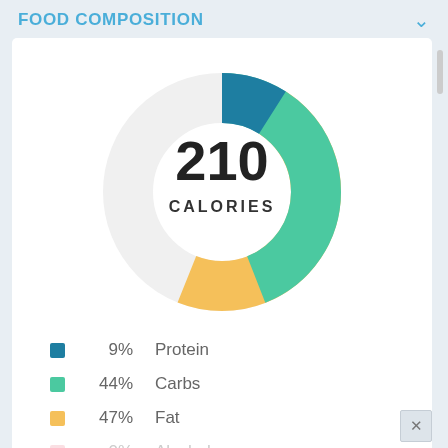FOOD COMPOSITION
[Figure (donut-chart): 210 CALORIES]
9%   Protein
44%  Carbs
47%  Fat
0%   Alcohol